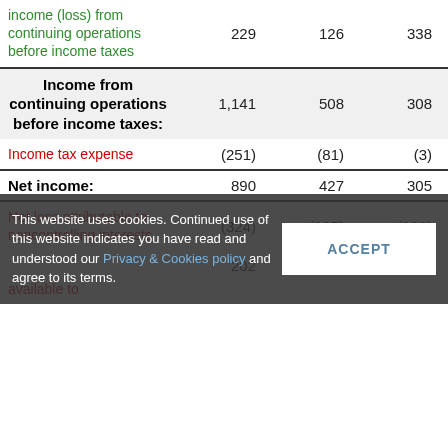|  | Col1 | Col2 | Col3 | Col4 |
| --- | --- | --- | --- | --- |
| income (loss) from continuing operations before income taxes | 229 | 126 | 338 | 0 |
| Income from continuing operations before income taxes: | 1,141 | 508 | 308 | 714 |
| Income tax expense | (251) | (81) | (3) | (181) |
| Net income: | 890 | 427 | 305 | 532 |
| Net loss attributable to noncontrolling interests | (324) | (225) | (289) | (289) |
| Net income available to | 202 | 16... |  |  |